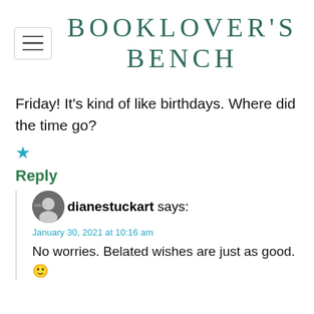BOOKLOVER'S BENCH
Friday! It's kind of like birthdays. Where did the time go?
★
Reply
dianestuckart says:
January 30, 2021 at 10:16 am
No worries. Belated wishes are just as good. 🙂